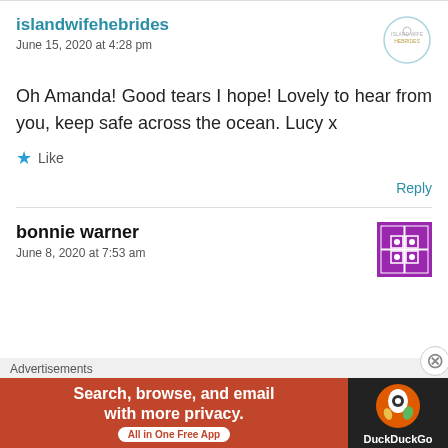islandwifehebrides
June 15, 2020 at 4:28 pm
Oh Amanda! Good tears I hope! Lovely to hear from you, keep safe across the ocean. Lucy x
Like
Reply
bonnie warner
June 8, 2020 at 7:53 am
Advertisements
[Figure (screenshot): DuckDuckGo advertisement banner: orange background with text 'Search, browse, and email with more privacy.' and 'All in One Free App', with DuckDuckGo logo on dark right panel]